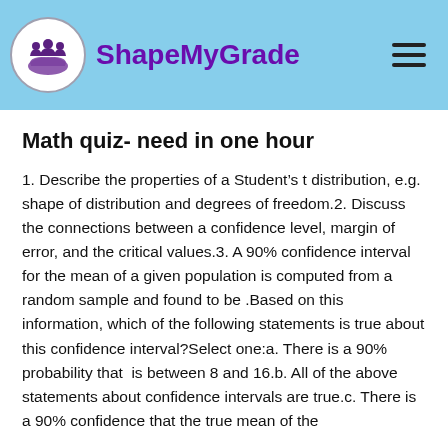ShapeMyGrade
Math quiz- need in one hour
1. Describe the properties of a Student’s t distribution, e.g. shape of distribution and degrees of freedom.2. Discuss the connections between a confidence level, margin of error, and the critical values.3. A 90% confidence interval for the mean of a given population is computed from a random sample and found to be .Based on this information, which of the following statements is true about this confidence interval?Select one:a. There is a 90% probability that  is between 8 and 16.b. All of the above statements about confidence intervals are true.c. There is a 90% confidence that the true mean of the